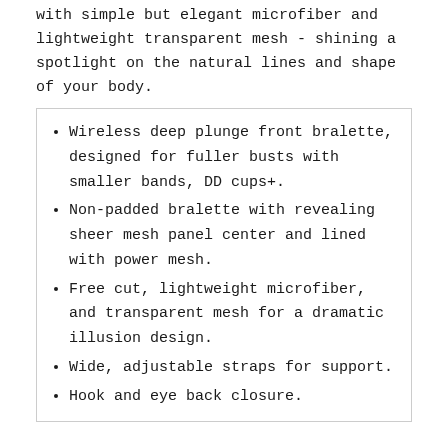with simple but elegant microfiber and lightweight transparent mesh - shining a spotlight on the natural lines and shape of your body.
Wireless deep plunge front bralette, designed for fuller busts with smaller bands, DD cups+.
Non-padded bralette with revealing sheer mesh panel center and lined with power mesh.
Free cut, lightweight microfiber, and transparent mesh for a dramatic illusion design.
Wide, adjustable straps for support.
Hook and eye back closure.
SIZE CHART
ASK A QUESTION